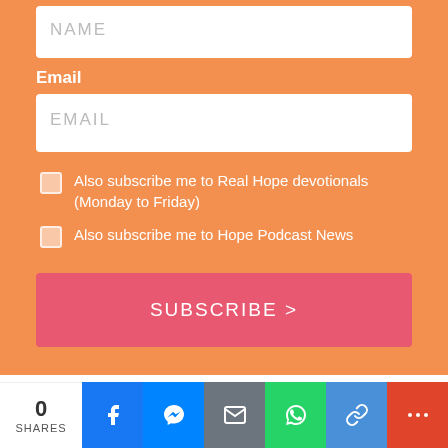NAME
Email
EMAIL
Also subscribe me to Real Hope devotionals (Monday to Friday)
Also subscribe me to Hope Podcast News
SUBSCRIBE >
Related Articles
[Figure (photo): Two article thumbnail images side by side]
0 SHARES
[Figure (infographic): Social sharing bar with Facebook, Messenger, Email, WhatsApp, Link, and More buttons]